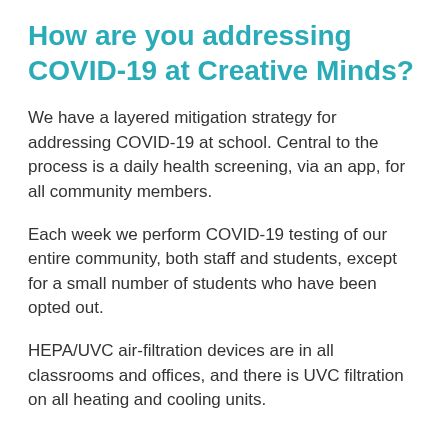How are you addressing COVID-19 at Creative Minds?
We have a layered mitigation strategy for addressing COVID-19 at school. Central to the process is a daily health screening, via an app, for all community members.
Each week we perform COVID-19 testing of our entire community, both staff and students, except for a small number of students who have been opted out.
HEPA/UVC air-filtration devices are in all classrooms and offices, and there is UVC filtration on all heating and cooling units.